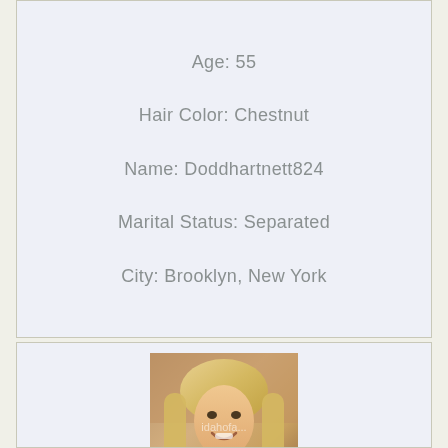Age: 55
Hair Color: Chestnut
Name: Doddhartnett824
Marital Status: Separated
City: Brooklyn, New York
[Figure (photo): Profile photo of a blonde woman smiling, with a watermark overlay reading 'idahofа...']